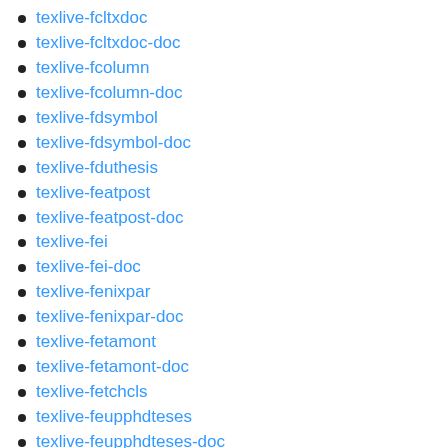texlive-fcltxdoc
texlive-fcltxdoc-doc
texlive-fcolumn
texlive-fcolumn-doc
texlive-fdsymbol
texlive-fdsymbol-doc
texlive-fduthesis
texlive-featpost
texlive-featpost-doc
texlive-fei
texlive-fei-doc
texlive-fenixpar
texlive-fenixpar-doc
texlive-fetamont
texlive-fetamont-doc
texlive-fetchcls
texlive-feupphdteses
texlive-feupphdteses-doc
texlive-fewerfloatpages